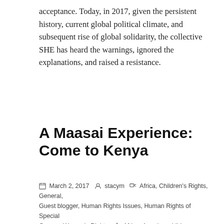acceptance. Today, in 2017, given the persistent history, current global political climate, and subsequent rise of global solidarity, the collective SHE has heard the warnings, ignored the explanations, and raised a resistance.
A Maasai Experience: Come to Kenya
March 2, 2017  stacym  Africa, Children's Rights, General, Guest blogger, Human Rights Issues, Human Rights of Special Groups, Women's Rights  Africa, America, children, culture, economics, featured, human rights, social change, Women